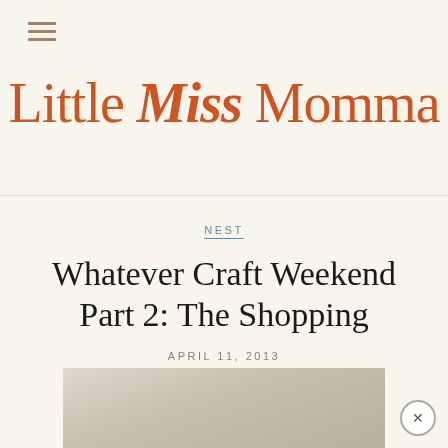Little Miss Momma
NEST
Whatever Craft Weekend Part 2: The Shopping
APRIL 11, 2013
[Figure (photo): Partial photo of a person, cropped at bottom of page]